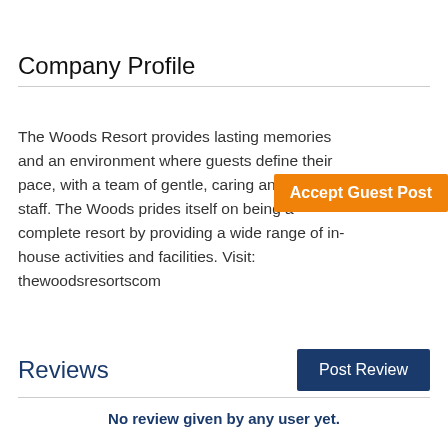Company Profile
The Woods Resort provides lasting memories and an environment where guests define their pace, with a team of gentle, caring and friendly staff. The Woods prides itself on being a complete resort by providing a wide range of in-house activities and facilities. Visit: thewoodsresortscom
[Figure (screenshot): Orange button labeled 'Accept Guest Post' overlaid on the text]
Reviews
[Figure (screenshot): Dark blue button labeled 'Post Review']
No review given by any user yet.